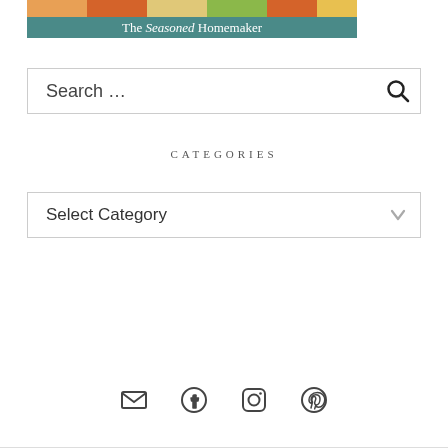[Figure (photo): Blog header image for 'The Seasoned Homemaker' with food photo strip at top and teal banner with site name]
Search …
CATEGORIES
Select Category
[Figure (infographic): Social media icons: email, Facebook, Instagram, Pinterest]